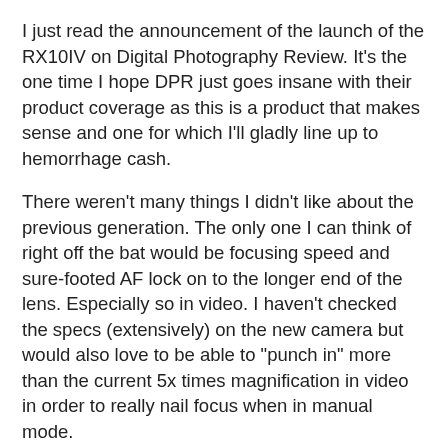I just read the announcement of the launch of the RX10IV on Digital Photography Review. It's the one time I hope DPR just goes insane with their product coverage as this is a product that makes sense and one for which I'll gladly line up to hemorrhage cash.
There weren't many things I didn't like about the previous generation. The only one I can think of right off the bat would be focusing speed and sure-footed AF lock on to the longer end of the lens. Especially so in video. I haven't checked the specs (extensively) on the new camera but would also love to be able to "punch in" more than the current 5x times magnification in video in order to really nail focus when in manual mode.
The lens is the same 24-600mm equivalent Zeiss lens and the camera continues the full frame read, non-binning 4K video performance. The video is actually down res'd from a 5K capture! I found the handling and post processing performance of both 4K and 1080p video to be class-leading and the combination of all the features and performance metrics of the RX10III has me half this camera for...